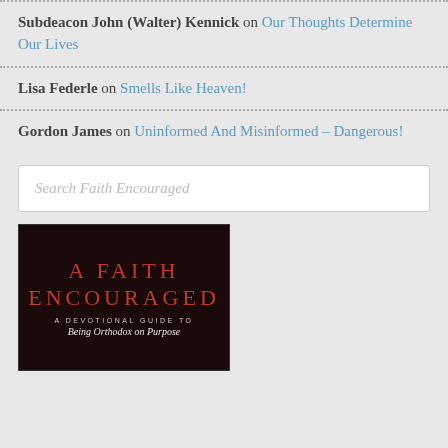Subdeacon John (Walter) Kennick on Our Thoughts Determine Our Lives
Lisa Federle on Smells Like Heaven!
Gordon James on Uninformed And Misinformed – Dangerous!
Search Faith Encouraged
[Figure (photo): Book cover image for 'A Faith Encouraged: A Devotional Guide to Being Orthodox on Purpose' with dark background and red text]